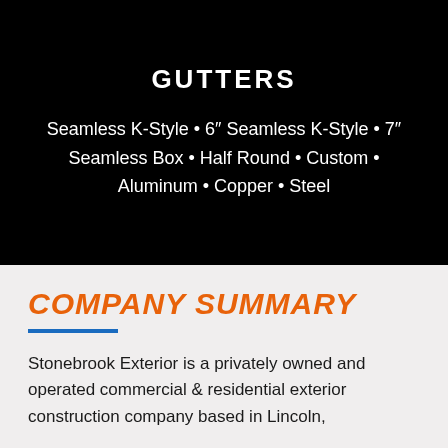GUTTERS
Seamless K-Style • 6″ Seamless K-Style • 7″ Seamless Box • Half Round • Custom • Aluminum • Copper • Steel
COMPANY SUMMARY
Stonebrook Exterior is a privately owned and operated commercial & residential exterior construction company based in Lincoln,